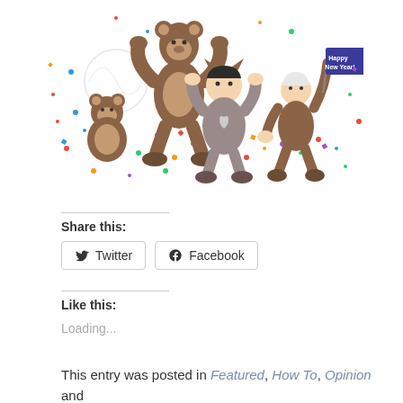[Figure (illustration): Cartoon illustration of bears and children characters celebrating New Year with confetti and a flag reading 'Happy New Year!']
Share this:
Twitter  Facebook
Like this:
Loading...
This entry was posted in Featured, How To, Opinion and